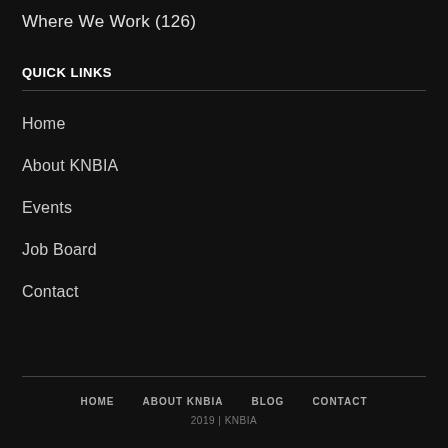Where We Work (126)
QUICK LINKS
Home
About KNBIA
Events
Job Board
Contact
HOME   ABOUT KNBIA   BLOG   CONTACT
2019 | KNBIA